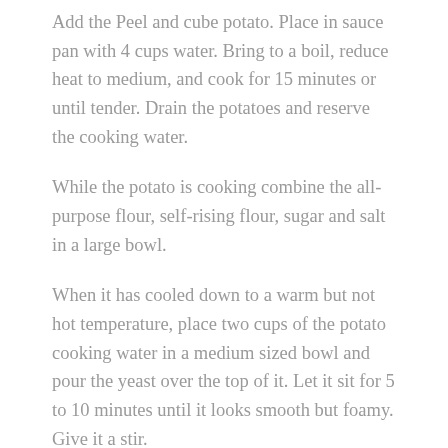Add the Peel and cube potato. Place in sauce pan with 4 cups water. Bring to a boil, reduce heat to medium, and cook for 15 minutes or until tender. Drain the potatoes and reserve the cooking water.
While the potato is cooking combine the all-purpose flour, self-rising flour, sugar and salt in a large bowl.
When it has cooled down to a warm but not hot temperature, place two cups of the potato cooking water in a medium sized bowl and pour the yeast over the top of it. Let it sit for 5 to 10 minutes until it looks smooth but foamy. Give it a stir.
Use a ricer or push the cooked potato through the holes of a colander. Don't worry if the potato just ends up being mashed. Add the riced or mashed potato to the yeast